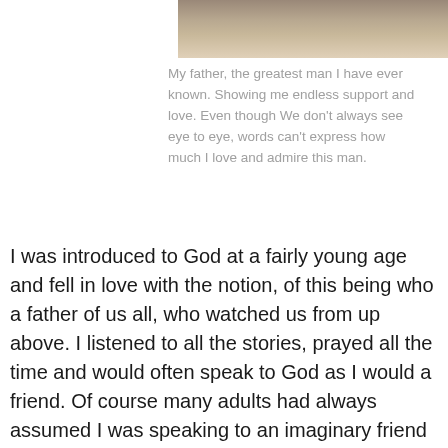[Figure (photo): Partial photo of two people, cropped at top of page]
My father, the greatest man I have ever known. Showing me endless support and love. Even though We don't always see eye to eye, words can't express how much I love and admire this man.
I was introduced to God at a fairly young age and fell in love with the notion, of this being who a father of us all, who watched us from up above. I listened to all the stories, prayed all the time and would often speak to God as I would a friend. Of course many adults had always assumed I was speaking to an imaginary friend and any atheist would say that they weren't wrong. But in many ways I believed and at times I believed I was raised in a broken home, with a mother who rarely ever made me feel love was because I was being tested. I can't tell you how